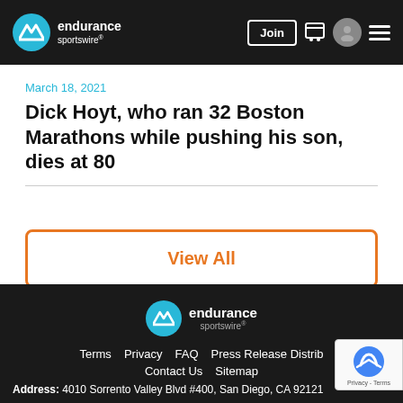endurance sportswire — header with Join, cart, user, and menu icons
March 18, 2021
Dick Hoyt, who ran 32 Boston Marathons while pushing his son, dies at 80
View All
endurance sportswire footer — Terms  Privacy  FAQ  Press Release Distrib  Contact Us  Sitemap  Address: 4010 Sorrento Valley Blvd #400, San Diego, CA 92121